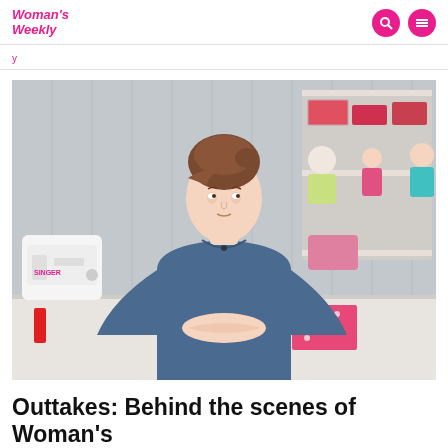Woman's Weekly
[Figure (photo): A young woman with brown hair in a bun sits at a white table with a blue denim top, hands clasped, looking to the side. A white Singer sewing machine is on the left, a floral pin cushion teacup in front. Behind her are shelves with fabric dolls, patterned fabric items, and craft supplies. Pink polka dot fabric squares are on the table.]
Outtakes: Behind the scenes of Woman's Weekly videos